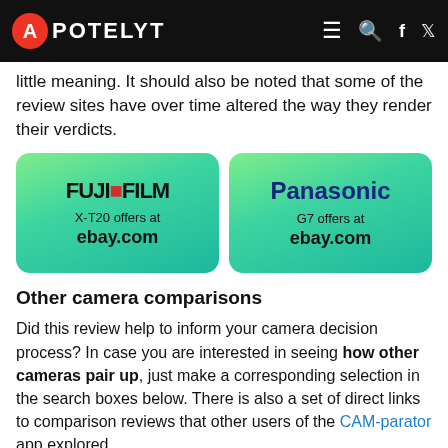APOTELYT
little meaning. It should also be noted that some of the review sites have over time altered the way they render their verdicts.
[Figure (infographic): Two green gradient offer boxes side by side. Left: Fujifilm X-T20 offers at ebay.com. Right: Panasonic G7 offers at ebay.com.]
Other camera comparisons
Did this review help to inform your camera decision process? In case you are interested in seeing how other cameras pair up, just make a corresponding selection in the search boxes below. There is also a set of direct links to comparison reviews that other users of the CAM-parator app explored.
e.g. Fujifilm X-T20